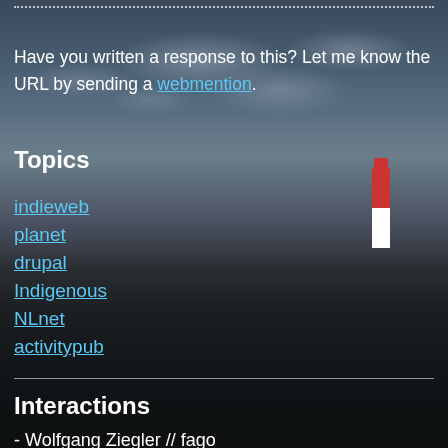Have you written a response to this? Let me know the URL by sending a webmention.
Topics
indieweb
planet
drupal
Indigenous
NLnet
activitypub
Interactions
- Wolfgang Ziegler // fago
- Aleksi Peebles
- Hristo Chonov